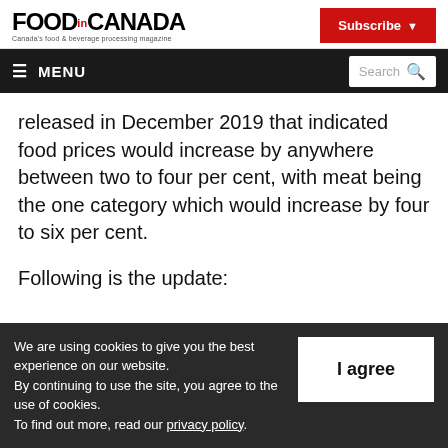FOOD.CANADA — Canada's food & beverage processing magazine | Subscribe
≡ MENU | Search
released in December 2019 that indicated food prices would increase by anywhere between two to four per cent, with meat being the one category which would increase by four to six per cent.
Following is the update:
We are using cookies to give you the best experience on our website. By continuing to use the site, you agree to the use of cookies. To find out more, read our privacy policy.